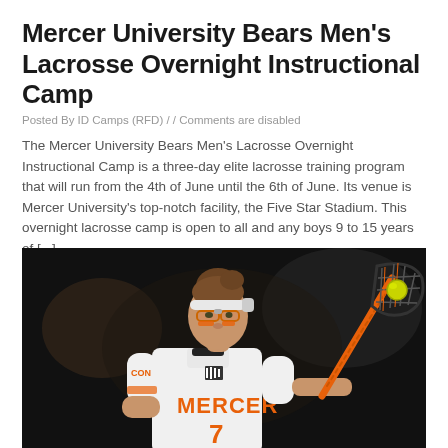Mercer University Bears Men's Lacrosse Overnight Instructional Camp
Posted By ID Camps (RFD) // Comments are disabled
The Mercer University Bears Men's Lacrosse Overnight Instructional Camp is a three-day elite lacrosse training program that will run from the 4th of June until the 6th of June. Its venue is Mercer University's top-notch facility, the Five Star Stadium. This overnight lacrosse camp is open to all and any boys 9 to 15 years of [...]
[Figure (photo): A female lacrosse player wearing a white Mercer jersey number 7 with orange lettering, holding a lacrosse stick with an orange ball, wearing protective eyewear and a white headband, photographed against a dark background.]